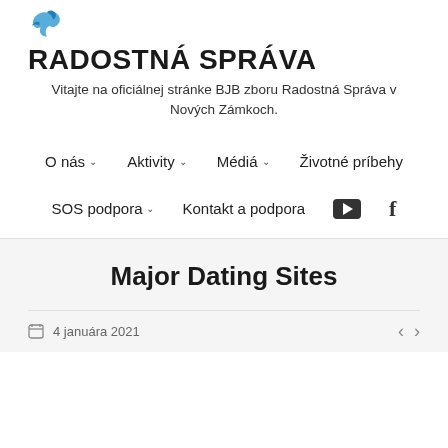[Figure (logo): Radostná Správa logo with blue bird/dove icon above bold text]
Vitajte na oficiálnej stránke BJB zboru Radostná Správa v Nových Zámkoch.
O nás | Aktivity | Médiá | Životné príbehy
SOS podpora | Kontakt a podpora | YouTube | Facebook
Major Dating Sites
4 januára 2021